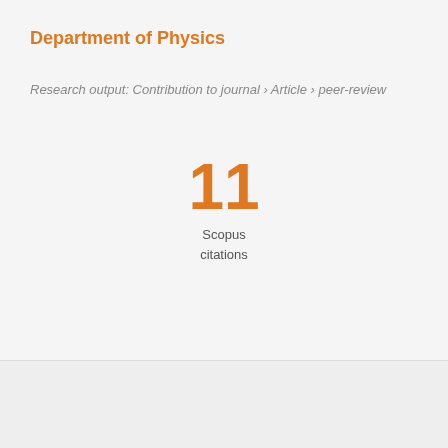Department of Physics
Research output: Contribution to journal › Article › peer-review
11
Scopus
citations
Overview
Fingerprint